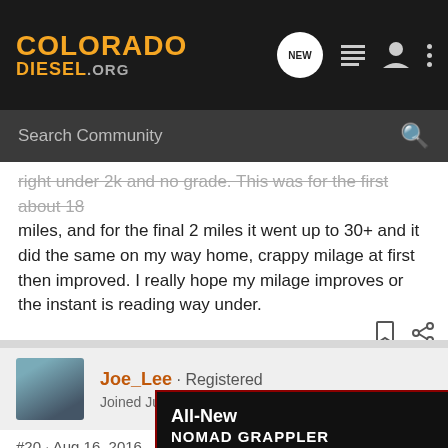COLORADO DIESEL.ORG
right under 2k and no grade. This was for the first about 18 miles, and for the final 2 miles it went up to 30+ and it did the same on my way home, crappy milage at first then improved. I really hope my milage improves or the instant is reading way under.
Joe_Lee · Registered
Joined Jul 25, 2016 · 38 Posts
#20 · Aug 16, 2016
My truck ... age shows 2... e of ti...
[Figure (screenshot): Ad banner for Nitto All-New Nomad Grappler Crossover-Terrain Tire]